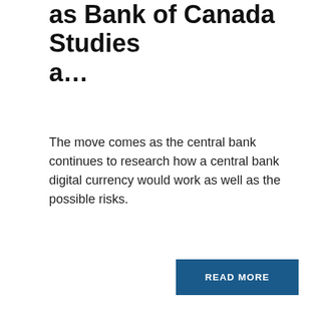as Bank of Canada Studies a…
The move comes as the central bank continues to research how a central bank digital currency would work as well as the possible risks.
READ MORE
RELATED NEWS
[Figure (photo): Related news image placeholder]
Blockchain Association of Canada: A New Vision Beyond Bitcoin…